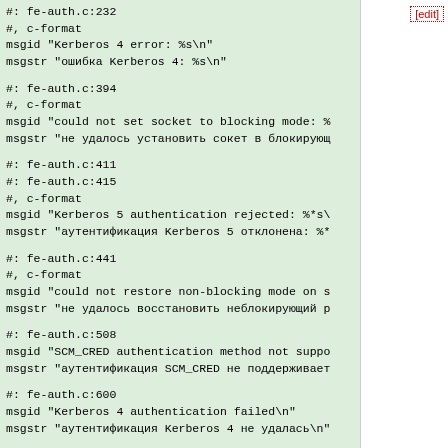[edit]
#: fe-auth.c:232
#, c-format
msgid "Kerberos 4 error: %s\n"
msgstr "ошибка Kerberos 4: %s\n"
#: fe-auth.c:394
#, c-format
msgid "could not set socket to blocking mode: %
msgstr "не удалось установить сокет в блокирующ
#: fe-auth.c:411
#: fe-auth.c:415
#, c-format
msgid "Kerberos 5 authentication rejected: %*s\
msgstr "аутентификация Kerberos 5 отклонена: %*
#: fe-auth.c:441
#, c-format
msgid "could not restore non-blocking mode on s
msgstr "не удалось восстановить неблокирующий р
#: fe-auth.c:508
msgid "SCM_CRED authentication method not suppo
msgstr "аутентификация SCM_CRED не поддерживает
#: fe-auth.c:600
msgid "Kerberos 4 authentication failed\n"
msgstr "аутентификация Kerberos 4 не удалась\n"
#: fe-auth.c:608
msgid "Kerberos 4 authentication not supported\
msgstr "аутентификация Kerberos 4 не поддержива